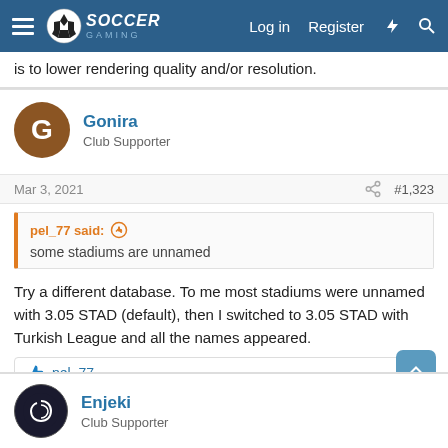Soccer Gaming — Log in | Register
is to lower rendering quality and/or resolution.
Gonira
Club Supporter
Mar 3, 2021   #1,323
pel_77 said:
some stadiums are unnamed
Try a different database. To me most stadiums were unnamed with 3.05 STAD (default), then I switched to 3.05 STAD with Turkish League and all the names appeared.
pel_77
Enjeki
Club Supporter